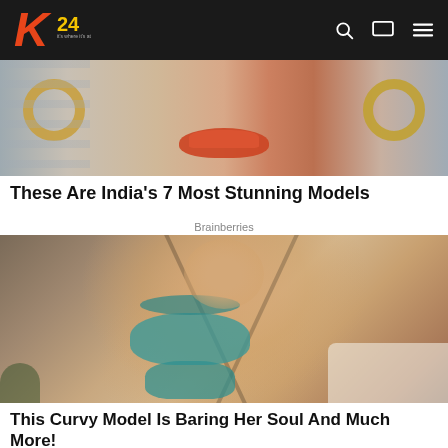K24
[Figure (photo): Close-up photo of a woman's face with orange-red lips and large gold hoop earrings]
These Are India's 7 Most Stunning Models
Brainberries
[Figure (photo): Photo of a curvy model wearing a teal/turquoise lace bikini, sitting on a bed with dramatic shadow lines across her body]
This Curvy Model Is Baring Her Soul And Much More!